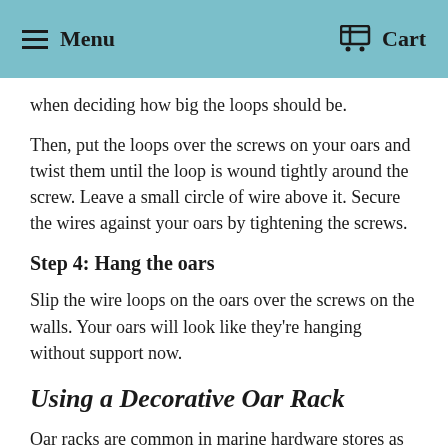Menu  Cart
when deciding how big the loops should be.
Then, put the loops over the screws on your oars and twist them until the loop is wound tightly around the screw. Leave a small circle of wire above it. Secure the wires against your oars by tightening the screws.
Step 4: Hang the oars
Slip the wire loops on the oars over the screws on the walls. Your oars will look like they're hanging without support now.
Using a Decorative Oar Rack
Oar racks are common in marine hardware stores as well as sporting goods stores that carry nautical gear. However, not all of them will be decorative. If you want something that looks more decorative than functional, you can find